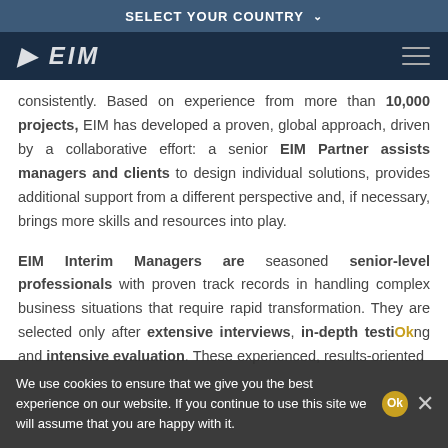SELECT YOUR COUNTRY ∨
[Figure (logo): EIM company logo on dark navy background with hamburger menu icon]
consistently. Based on experience from more than 10,000 projects, EIM has developed a proven, global approach, driven by a collaborative effort: a senior EIM Partner assists managers and clients to design individual solutions, provides additional support from a different perspective and, if necessary, brings more skills and resources into play.
EIM Interim Managers are seasoned senior-level professionals with proven track records in handling complex business situations that require rapid transformation. They are selected only after extensive interviews, in-depth testing and intensive evaluation. These experienced, results-oriented
We use cookies to ensure that we give you the best experience on our website. If you continue to use this site we will assume that you are happy with it.